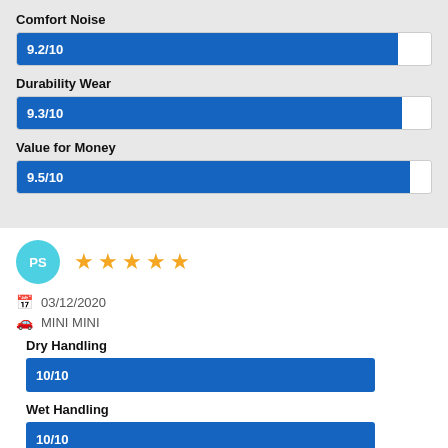Comfort Noise
[Figure (bar-chart): Comfort Noise]
Durability Wear
[Figure (bar-chart): Durability Wear]
Value for Money
[Figure (bar-chart): Value for Money]
PS ★★★★★ 03/12/2020 MINI MINI
Dry Handling
[Figure (bar-chart): Dry Handling]
Wet Handling
[Figure (bar-chart): Wet Handling]